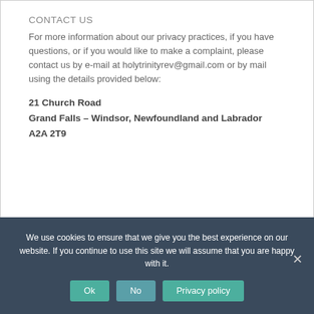CONTACT US
For more information about our privacy practices, if you have questions, or if you would like to make a complaint, please contact us by e-mail at holytrinityrev@gmail.com or by mail using the details provided below:
21 Church Road
Grand Falls – Windsor, Newfoundland and Labrador
A2A 2T9
We use cookies to ensure that we give you the best experience on our website. If you continue to use this site we will assume that you are happy with it.